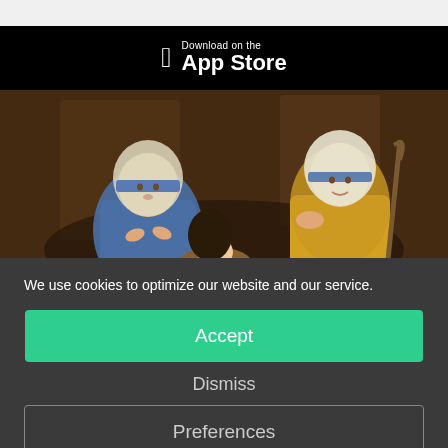[Figure (logo): Download on the App Store button - black background with Apple logo and text]
[Figure (photo): Nativity scene figurines - Mary in blue veil, shepherd in yellow robe with staff, baby Jesus figure in manger, dark rustic background]
We use cookies to optimize our website and our service.
Accept
Dismiss
Preferences